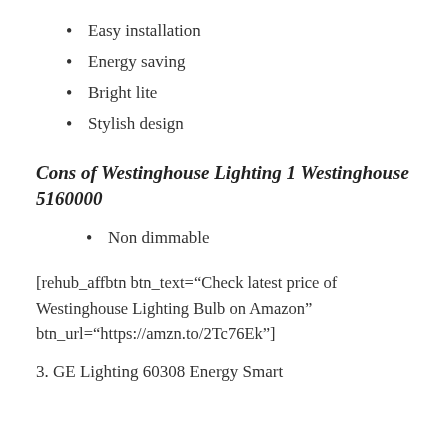Easy installation
Energy saving
Bright lite
Stylish design
Cons of Westinghouse Lighting 1 Westinghouse 5160000
Non dimmable
[rehub_affbtn btn_text="Check latest price of Westinghouse Lighting Bulb on Amazon" btn_url="https://amzn.to/2Tc76Ek"]
3. GE Lighting 60308 Energy Smart